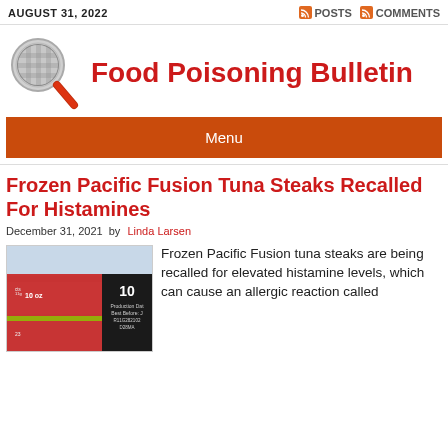AUGUST 31, 2022  POSTS  COMMENTS
[Figure (logo): Food Poisoning Bulletin logo: magnifying glass with red handle]
Food Poisoning Bulletin
Menu
Frozen Pacific Fusion Tuna Steaks Recalled For Histamines
December 31, 2021 by Linda Larsen
[Figure (photo): Photo of frozen tuna steak packaging labeled 10 oz Pacific Fusion]
Frozen Pacific Fusion tuna steaks are being recalled for elevated histamine levels, which can cause an allergic reaction called